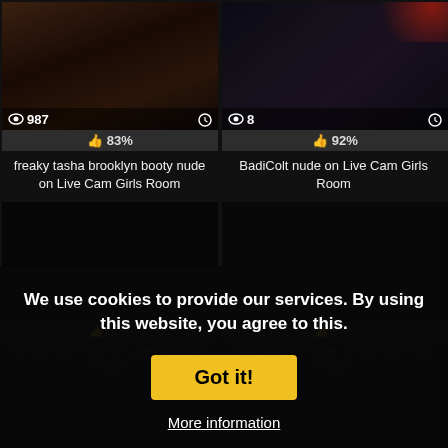[Figure (photo): Thumbnail of freaky tasha brooklyn booty nude on Live Cam Girls Room, views: 987, like: 83%]
freaky tasha brooklyn booty nude on Live Cam Girls Room
[Figure (photo): Thumbnail of BadiColt nude on Live Cam Girls Room, views: 8, like: 92%]
BadiColt nude on Live Cam Girls Room
[Figure (photo): Dark thumbnail of KeryBerry19 nude on Live Cam Girls Room, views faded, like: 92%]
KeryBerry19 nude on Live Cam Girls Room
[Figure (photo): Dark thumbnail of Samera-Cutte nude on Live Cam Girls Room, views: 8k, like: 95%]
Samera-Cutte nude on Live Cam Girls Room
We use cookies to provide our services. By using this website, you agree to this.
Got it!
More information